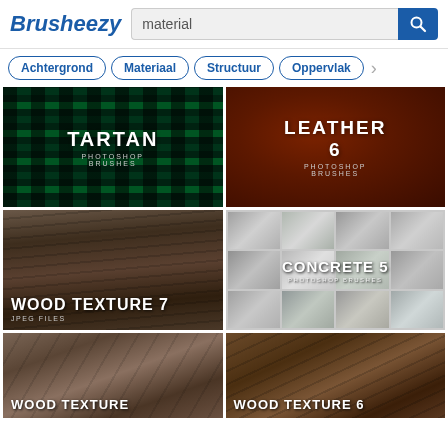Brusheezy — material search
Achtergrond
Materiaal
Structuur
Oppervlak
[Figure (photo): Tartan Photoshop Brushes — green plaid/tartan fabric pattern]
[Figure (photo): Leather 6 Photoshop Brushes — dark brown leather texture]
[Figure (photo): Wood Texture 7 JPEG Files — dark weathered wood texture]
[Figure (photo): Concrete 5 Photoshop Brushes — grid of concrete texture tiles]
[Figure (photo): Wood Texture — rough rock/stone texture]
[Figure (photo): Wood Texture 6 — dark tree bark texture]